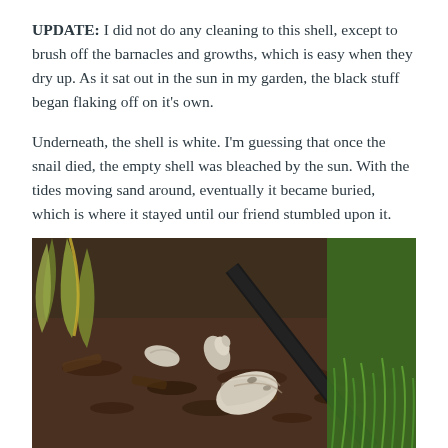UPDATE: I did not do any cleaning to this shell, except to brush off the barnacles and growths, which is easy when they dry up.  As it sat out in the sun in my garden, the black stuff began flaking off on it's own.
Underneath, the shell is white. I'm guessing that once the snail died, the empty shell was bleached by the sun. With the tides moving sand around, eventually it became buried, which is where it stayed until our friend stumbled upon it.
[Figure (photo): A garden scene showing a white spiral shell lying on brown wood chip mulch near a plant with long green and yellow leaves, a black garden edging strip, and green grass in the background.]